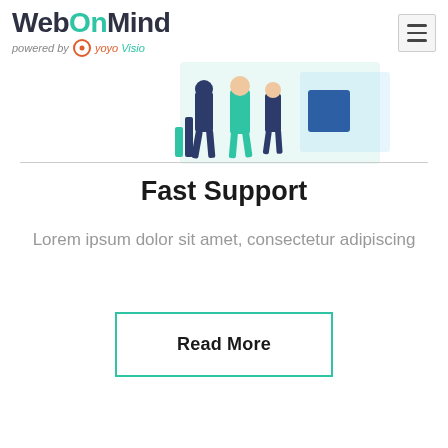WebOnMind powered by yoyoVisio
[Figure (illustration): Partial view of illustrated figures/people with geometric shapes in teal, dark blue, and teal colors against a white background, forming a decorative hero banner.]
Fast Support
Lorem ipsum dolor sit amet, consectetur adipiscing
Read More